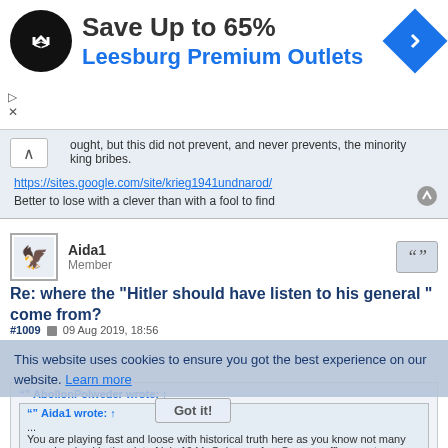[Figure (screenshot): Advertisement banner: Save Up to 65% Leesburg Premium Outlets with logo and navigation icon]
bought, but this did not prevent, and never prevents, the minority ...king bribes.
https://sites.google.com/site/krieg1941undnarod/
Better to lose with a clever than with a fool to find
Aida1
Member
Re: where the "Hitler should have listen to his general " come from?
#1009  09 Aug 2019, 18:56
This website uses cookies to ensure you got the best experience on our website. Learn more
AbollonPolweder wrote: ↑
Aida1 wrote: ↑
...
You are playing fast and loose with historical truth here as you know not many were Involved in the plot of july 1944..Only very few German officers got anything from Hitler and still they kept to